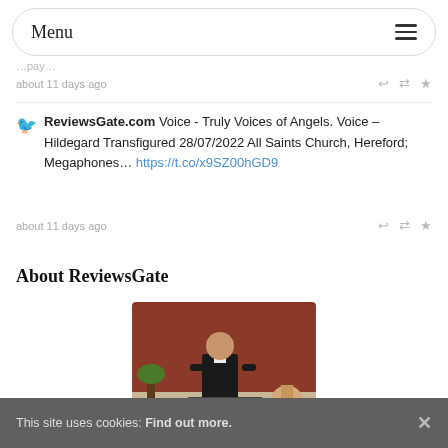Menu
about 11 days ago
ReviewsGate.com Voice - Truly Voices of Angels. Voice – Hildegard Transfigured 28/07/2022 All Saints Church, Hereford; Megaphones... https://t.co/x9SZ00hGD9
about 11 days ago
About ReviewsGate
[Figure (photo): Man in black suit sitting on a bench in a garden with plants and a chimenea, brick fence background]
This site uses cookies: Find out more.